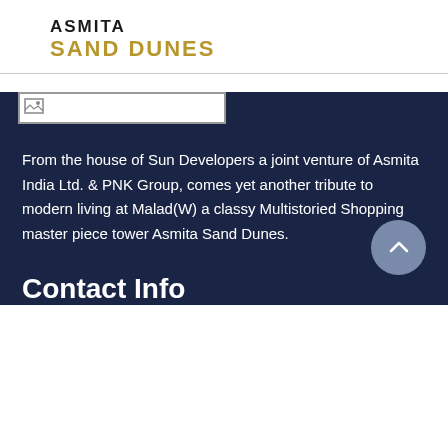ASMITA SAND DUNES
[Figure (other): Broken/missing image placeholder in dark navy section]
From the house of Sun Developers a joint venture of Asmita India Ltd. & PNK Group, comes yet another tribute to modern living at Malad(W) a classy Multistoried Shopping master piece tower Asmita Sand Dunes.
Contact Info